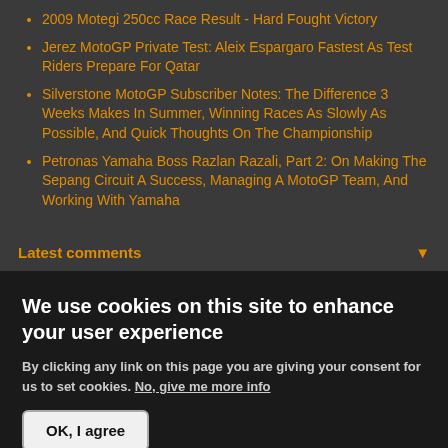2009 Motegi 250cc Race Result - Hard Fought Victory
Jerez MotoGP Private Test: Aleix Espargaro Fastest As Test Riders Prepare For Qatar
Silverstone MotoGP Subscriber Notes: The Difference 3 Weeks Makes In Summer, Winning Races As Slowly As Possible, And Quick Thoughts On The Championship
Petronas Yamaha Boss Razlan Razali, Part 2: On Making The Sepang Circuit A Success, Managing A MotoGP Team, And Working With Yamaha
Latest comments
We use cookies on this site to enhance your user experience
By clicking any link on this page you are giving your consent for us to set cookies. No, give me more info
OK, I agree